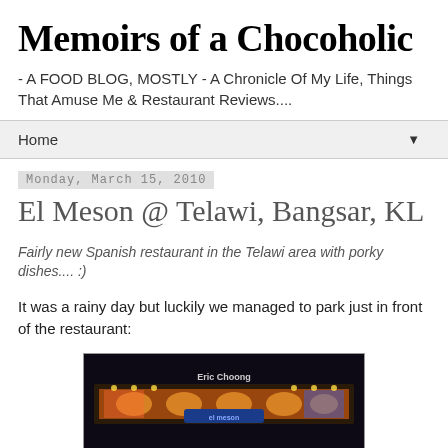Memoirs of a Chocoholic
- A FOOD BLOG, MOSTLY - A Chronicle Of My Life, Things That Amuse Me & Restaurant Reviews....
Home
Monday, March 15, 2010
El Meson @ Telawi, Bangsar, KL
Fairly new Spanish restaurant in the Telawi area with porky dishes.... :)
It was a rainy day but luckily we managed to park just in front of the restaurant:
[Figure (photo): Night-time exterior photo of El Meson restaurant at Telawi, Bangsar with colorful illuminated signage and decorations]